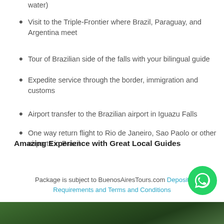water)
Visit to the Triple-Frontier where Brazil, Paraguay, and Argentina meet
Tour of Brazilian side of the falls with your bilingual guide
Expedite service through the border, immigration and customs
Airport transfer to the Brazilian airport in Iguazu Falls
One way return flight to Rio de Janeiro, Sao Paolo or other airports in Brazil
Amazing Experience with Great Local Guides
Package is subject to BuenosAiresTours.com Deposit Requirements and Terms and Conditions
[Figure (other): Aerial photo strip of lush green forest/waterfall area at bottom of page]